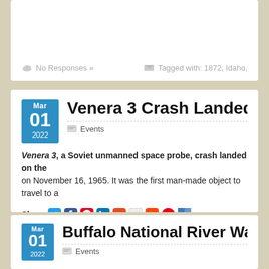No Responses »    Tagged with: 1872, Idaho,
Venera 3 Crash Landed on the Su…
Events
Venera 3, a Soviet unmanned space probe, crash landed on the … on November 16, 1965. It was the first man-made object to travel to a…
Share [social icons]
No Responses »
Buffalo National River Was Establi…
Events